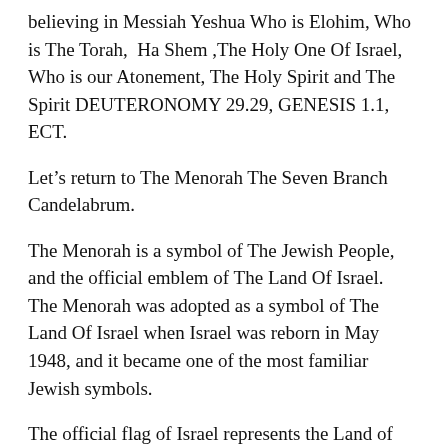believing in Messiah Yeshua Who is Elohim, Who is The Torah,  Ha Shem ,The Holy One Of Israel, Who is our Atonement, The Holy Spirit and The Spirit DEUTERONOMY 29.29, GENESIS 1.1, ECT.
Let’s return to The Menorah The Seven Branch Candelabrum.
The Menorah is a symbol of The Jewish People, and the official emblem of The Land Of Israel.  The Menorah was adopted as a symbol of The Land Of Israel when Israel was reborn in May 1948, and it became one of the most familiar Jewish symbols.
The official flag of Israel represents the Land of Israel, its sovereignty, self rule, self government, self determination, and freedom under GOD, under His Torah.